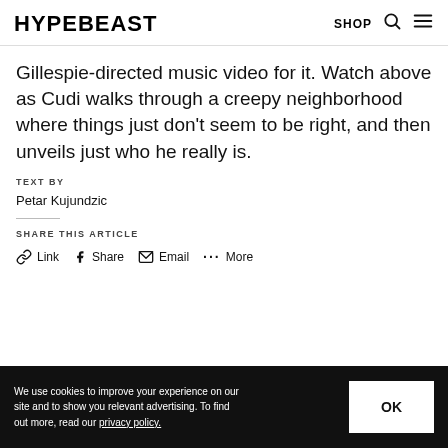HYPEBEAST — SHOP
Gillespie-directed music video for it. Watch above as Cudi walks through a creepy neighborhood where things just don't seem to be right, and then unveils just who he really is.
TEXT BY
Petar Kujundzic
SHARE THIS ARTICLE
Link  Share  Email  More
We use cookies to improve your experience on our site and to show you relevant advertising. To find out more, read our privacy policy.